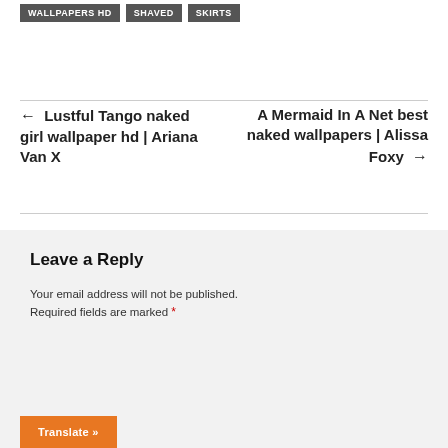WALLPAPERS HD   SHAVED   SKIRTS
← Lustful Tango naked girl wallpaper hd | Ariana Van X
A Mermaid In A Net best naked wallpapers | Alissa Foxy →
Leave a Reply
Your email address will not be published. Required fields are marked *
Translate »